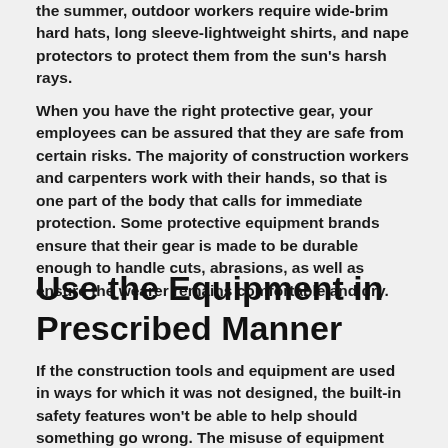the summer, outdoor workers require wide-brim hard hats, long sleeve-lightweight shirts, and nape protectors to protect them from the sun's harsh rays.
When you have the right protective gear, your employees can be assured that they are safe from certain risks. The majority of construction workers and carpenters work with their hands, so that is one part of the body that calls for immediate protection. Some protective equipment brands ensure that their gear is made to be durable enough to handle cuts, abrasions, as well as ensure the wearer remains comfortable and dry.
Use the Equipment in Prescribed Manner
If the construction tools and equipment are used in ways for which it was not designed, the built-in safety features won't be able to help should something go wrong. The misuse of equipment can also result in damage and can also cause employee injuries. It is recommended that the equipment itself